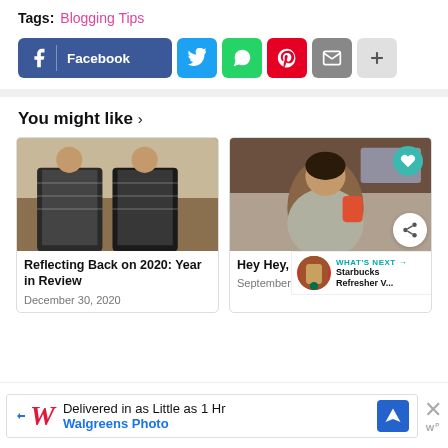Tags: Blogging Tips
[Figure (other): Social share buttons: Facebook, Twitter, WhatsApp, Pinterest, Email, More]
You might like ›
[Figure (photo): Two women in matching black and white patterned onesies standing in a living room]
Reflecting Back on 2020: Year in Review
December 30, 2020
[Figure (photo): Woman sitting in kitchen smiling holding an orange cup]
Hey Hey, It's My Birthday!
September 18,
[Figure (infographic): WHAT'S NEXT → Starbucks Refresher V... advertisement widget with Starbucks cup image]
[Figure (other): Advertisement: Delivered in as Little as 1 Hr - Walgreens Photo with blue navigation icon and close button]